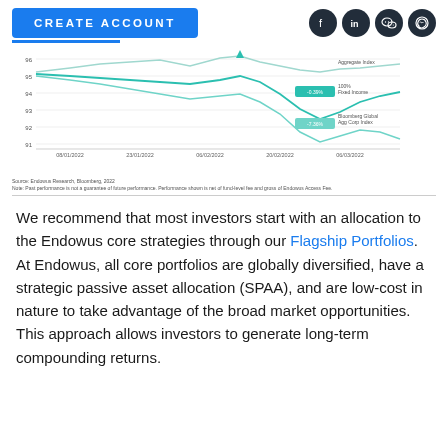CREATE ACCOUNT
[Figure (line-chart): Line chart showing performance from 08/01/2022 to 06/03/2022 with three lines: Aggregate Index (top), 100% Fixed Income (-0.39%), and Bloomberg Global Agg Corp Index (-7.36%). Y-axis ranges from 91 to 96+.]
Source: Endowus Research, Bloomberg, 2022
Note: Past performance is not a guarantee of future performance. Performance shown is net of fund-level fee and gross of Endowus Access Fee.
We recommend that most investors start with an allocation to the Endowus core strategies through our Flagship Portfolios. At Endowus, all core portfolios are globally diversified, have a strategic passive asset allocation (SPAA), and are low-cost in nature to take advantage of the broad market opportunities. This approach allows investors to generate long-term compounding returns.